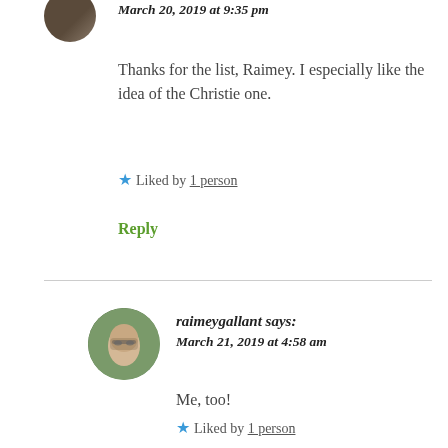March 20, 2019 at 9:35 pm
Thanks for the list, Raimey. I especially like the idea of the Christie one.
★ Liked by 1 person
Reply
raimeygallant says: March 21, 2019 at 4:58 am
Me, too!
★ Liked by 1 person